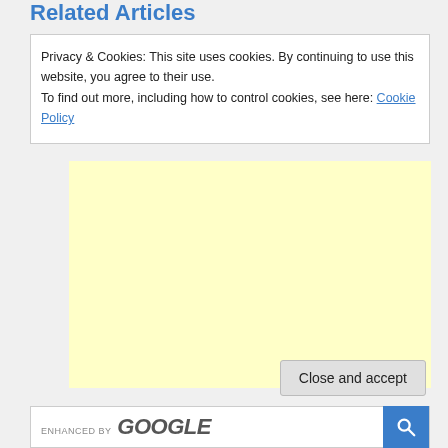Related Articles
Privacy & Cookies: This site uses cookies. By continuing to use this website, you agree to their use.
To find out more, including how to control cookies, see here: Cookie Policy
[Figure (other): Light yellow advertisement placeholder box]
Close and accept
ENHANCED BY Google